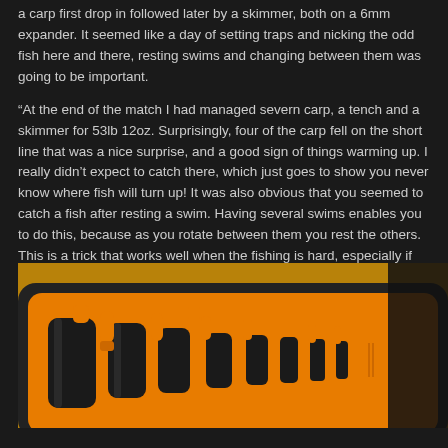a carp first drop in followed later by a skimmer, both on a 6mm expander. It seemed like a day of setting traps and nicking the odd fish here and there, resting swims and changing between them was going to be important.
"At the end of the match I had managed severn carp, a tench and a skimmer for 53lb 12oz. Surprisingly, four of the carp fell on the short line that was a nice surprise, and a good sign of things warming up. I really didn't expect to catch there, which just goes to show you never know where fish will turn up! It was also obvious that you seemed to catch a fish after resting a swim. Having several swims enables you to do this, because as you rotate between them you rest the others. This is a trick that works well when the fishing is hard, especially if your targeting just a handful of fish.
"The even better surprise on the day was that not only had I won my lake, I had infact won the whole match and was £180 better off for my efforts! More importantly, I had secured a valuable one point, which has moved me right up the league table. Fingers crossed for another result on the next round in two weeks time!"
[Figure (photo): Close-up photograph of orange and black fishing pole/rod sections stored in a black case, displayed on a sandy/beige surface]